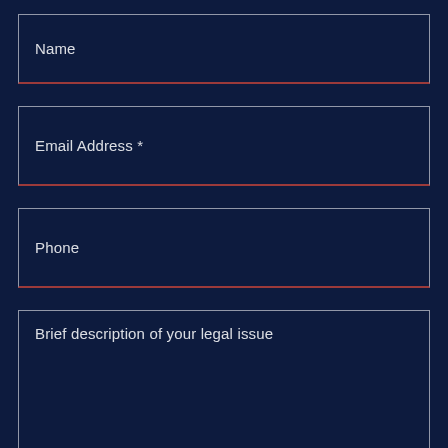Name
Email Address *
Phone
Brief description of your legal issue